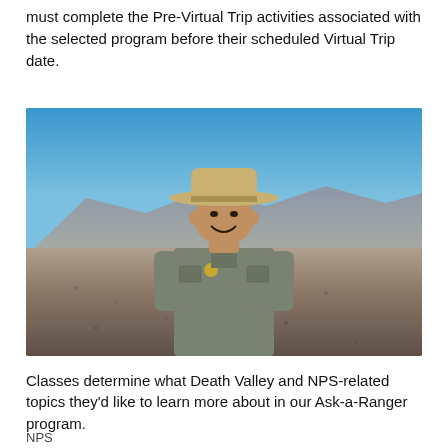must complete the Pre-Virtual Trip activities associated with the selected program before their scheduled Virtual Trip date.
[Figure (photo): A park ranger in uniform wearing a wide-brimmed hat and badge, smiling, standing in a desert landscape with rocky terrain and mountains in the background under a blue sky. Likely Death Valley National Park.]
Classes determine what Death Valley and NPS-related topics they'd like to learn more about in our Ask-a-Ranger program.
NPS